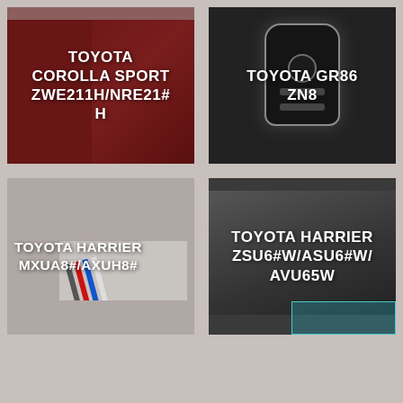[Figure (photo): Toyota Corolla Sport red car detail with dark red overlay and white bold text label]
[Figure (photo): Toyota GR86 key fob on dark background with white bold text label]
[Figure (photo): Toyota Harrier MXUA8/AXUH8 with diagonal colored racing stripes graphic and white bold text label]
[Figure (photo): Toyota Harrier ZSU6/ASU6/AVU65W interior dashboard view with HUD display and white bold text label]
[Figure (photo): Bottom-left placeholder grey cell (partially visible, cut off at page bottom)]
[Figure (photo): Bottom-right placeholder grey cell (partially visible, cut off at page bottom)]